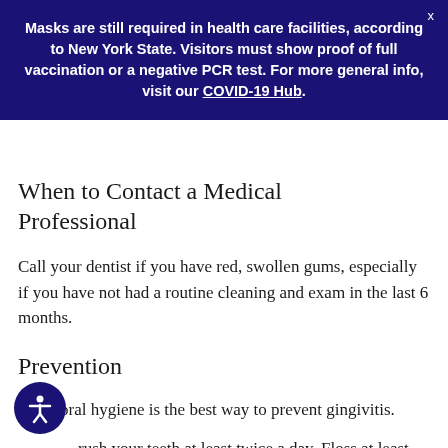Masks are still required in health care facilities, according to New York State. Visitors must show proof of full vaccination or a negative PCR test. For more general info, visit our COVID-19 Hub.
When to Contact a Medical Professional
Call your dentist if you have red, swollen gums, especially if you have not had a routine cleaning and exam in the last 6 months.
Prevention
Good oral hygiene is the best way to prevent gingivitis.
Brush your teeth at least twice a day. Floss at least once a day.